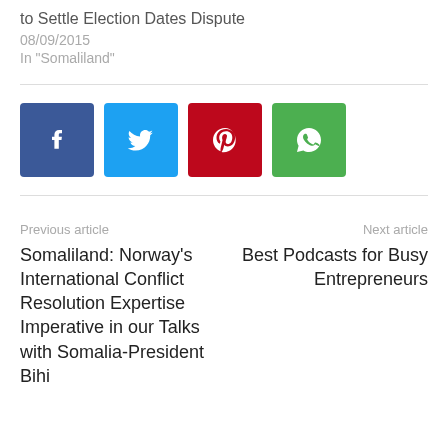to Settle Election Dates Dispute
08/09/2015
In "Somaliland"
[Figure (other): Social share buttons: Facebook (blue), Twitter (light blue), Pinterest (red), WhatsApp (green)]
Previous article
Somaliland: Norway's International Conflict Resolution Expertise Imperative in our Talks with Somalia-President Bihi
Next article
Best Podcasts for Busy Entrepreneurs